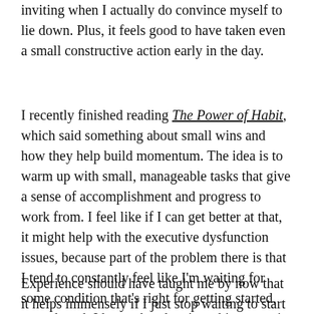inviting when I actually do convince myself to lie down. Plus, it feels good to have taken even a small constructive action early in the day.
I recently finished reading The Power of Habit, which said something about small wins and how they help build momentum. The idea is to warm up with small, manageable tasks that give a sense of accomplishment and progress to work from. I feel like if I can get better at that, it might help with the executive dysfunction issues, because part of the problem there is that I tend to constantly feel like I'm waiting for some condition that's right for getting started, even though I know that there's nothing to wait for.
Experience should have taught me by now that it helps immensely if I just stop waiting to start whatever big task has me stalled and do something